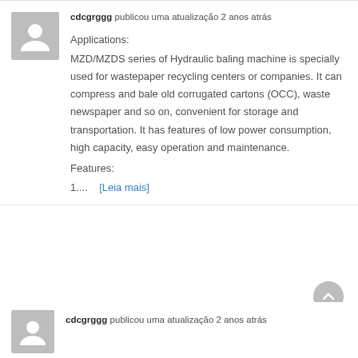cdcgrggg publicou uma atualização 2 anos atrás
Applications:
MZD/MZDS series of Hydraulic baling machine is specially used for wastepaper recycling centers or companies. It can compress and bale old corrugated cartons (OCC), waste newspaper and so on, convenient for storage and transportation. It has features of low power consumption, high capacity, easy operation and maintenance.
Features:
1....    [Leia mais]
cdcgrggg publicou uma atualização 2 anos atrás